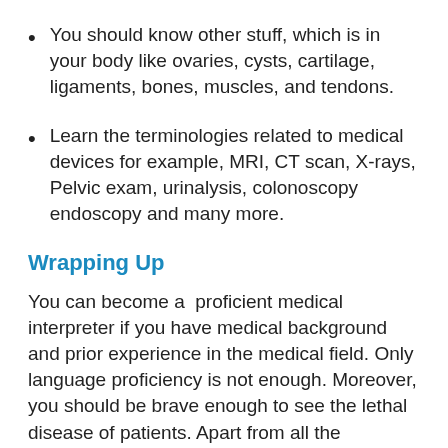You should know other stuff, which is in your body like ovaries, cysts, cartilage, ligaments, bones, muscles, and tendons.
Learn the terminologies related to medical devices for example, MRI, CT scan, X-rays, Pelvic exam, urinalysis, colonoscopy endoscopy and many more.
Wrapping Up
You can become a  proficient medical interpreter if you have medical background and prior experience in the medical field. Only language proficiency is not enough. Moreover, you should be brave enough to see the lethal disease of patients. Apart from all the qualities, if you have a passion for saving human life then you can become a good medical interpreter. Are